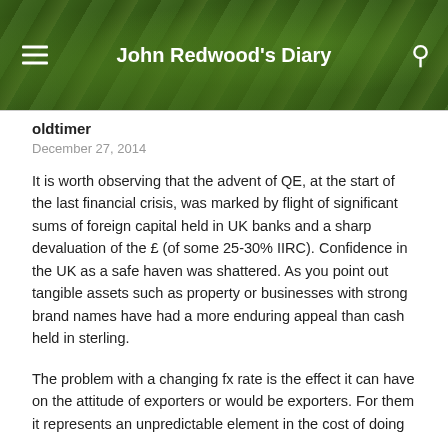John Redwood's Diary
oldtimer
December 27, 2014
It is worth observing that the advent of QE, at the start of the last financial crisis, was marked by flight of significant sums of foreign capital held in UK banks and a sharp devaluation of the £ (of some 25-30% IIRC). Confidence in the UK as a safe haven was shattered. As you point out tangible assets such as property or businesses with strong brand names have had a more enduring appeal than cash held in sterling.
The problem with a changing fx rate is the effect it can have on the attitude of exporters or would be exporters. For them it represents an unpredictable element in the cost of doing